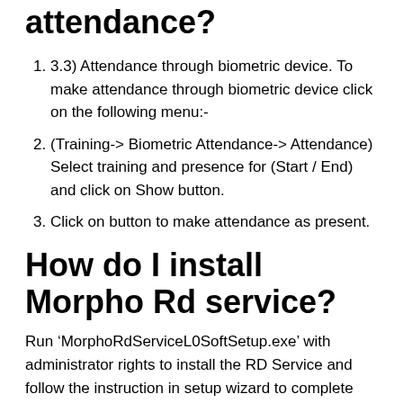attendance?
3.3) Attendance through biometric device. To make attendance through biometric device click on the following menu:-
(Training-> Biometric Attendance-> Attendance) Select training and presence for (Start / End) and click on Show button.
Click on button to make attendance as present.
How do I install Morpho Rd service?
Run ‘MorphoRdServiceL0SoftSetup.exe’ with administrator rights to install the RD Service and follow the instruction in setup wizard to complete the installation. ➤ On successful